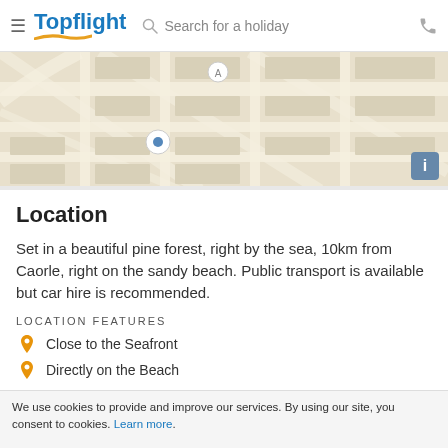Topflight | Search for a holiday
[Figure (map): Street map showing a coastal/urban area grid with roads and blocks in beige and white tones, with a map marker icon and an info button in the lower right corner.]
Location
Set in a beautiful pine forest, right by the sea, 10km from Caorle, right on the sandy beach. Public transport is available but car hire is recommended.
LOCATION FEATURES
Close to the Seafront
Directly on the Beach
TRANSFERS
Venice Marco Polo: 1 hours 15 min (50 km)
We use cookies to provide and improve our services. By using our site, you consent to cookies. Learn more.